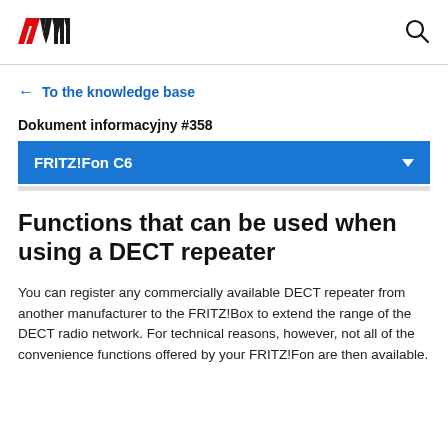AVM — To the knowledge base
← To the knowledge base
Dokument informacyjny #358
FRITZ!Fon C6
Functions that can be used when using a DECT repeater
You can register any commercially available DECT repeater from another manufacturer to the FRITZ!Box to extend the range of the DECT radio network. For technical reasons, however, not all of the convenience functions offered by your FRITZ!Fon are then available.